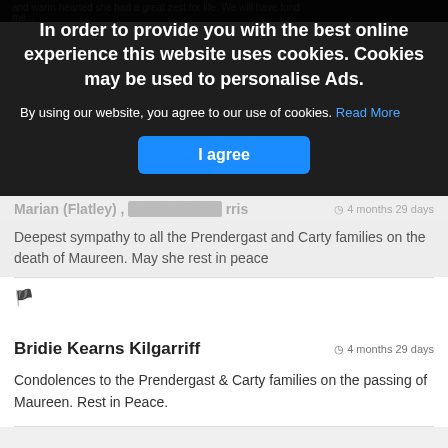and warm hearted she had a great zest for life. We will have fond me...
In order to provide you with the best online experience this website uses cookies. Cookies may be used to personalise Ads.
By using our website, you agree to our use of cookies. Read More
I agree
Marian (Flatley) ,  [obscured]  rris  4 months 29 days
Deepest sympathy to all the Prendergast and Carty families on the death of Maureen. May she rest in peace
Bridie Kearns Kilgarriff  4 months 29 days
Condolences to the Prendergast & Carty families on the passing of Maureen. Rest in Peace.